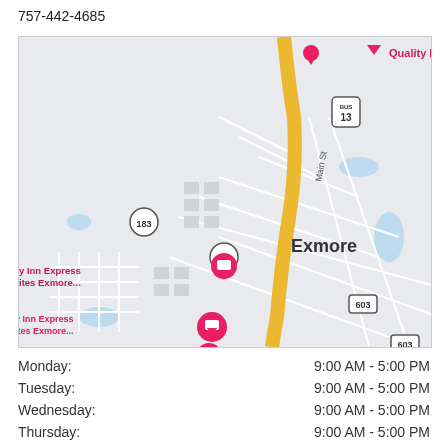757-442-4685
[Figure (map): Google Maps view of Exmore, Virginia showing route 13 (BUS), route 183, route 603, Quality Inn & Suites marker, Holiday Inn Express & Suites Exmore marker, and Hampton Inn & Suites Exmore - Eastern Shore marker along a yellow highway road.]
Monday: 9:00 AM - 5:00 PM
Tuesday: 9:00 AM - 5:00 PM
Wednesday: 9:00 AM - 5:00 PM
Thursday: 9:00 AM - 5:00 PM